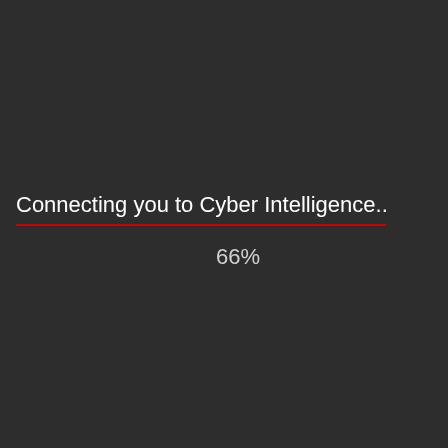Connecting you to Cyber Intelligence..
66%